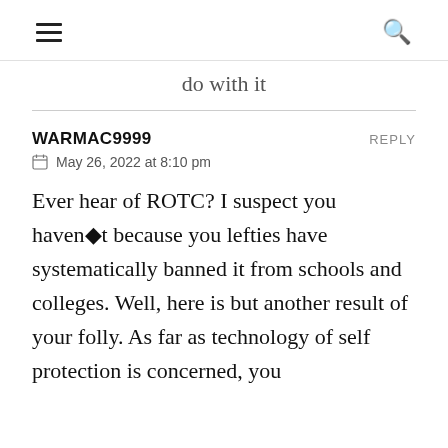≡  🔍
do with it
WARMAC9999  REPLY
📅 May 26, 2022 at 8:10 pm

Ever hear of ROTC? I suspect you haven◆t because you lefties have systematically banned it from schools and colleges. Well, here is but another result of your folly. As far as technology of self protection is concerned, you